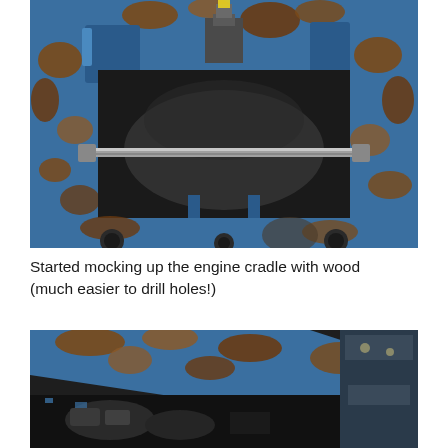[Figure (photo): Top-down view of a heavily rusted blue vehicle engine bay/firewall area, stripped of engine. Shows blue painted metal with extensive rust and paint flaking, a horizontal metal bar (engine cradle support) spanning the width, and dark interior cavity below. Workshop/garage floor visible in background.]
Started mocking up the engine cradle with wood (much easier to drill holes!)
[Figure (photo): Angled view of the same rusted blue vehicle engine bay, showing the front crossmember area with heavy rust, flaking blue paint, and some engine components or tools visible at the bottom. The rust damage is extensive across the metal surfaces.]